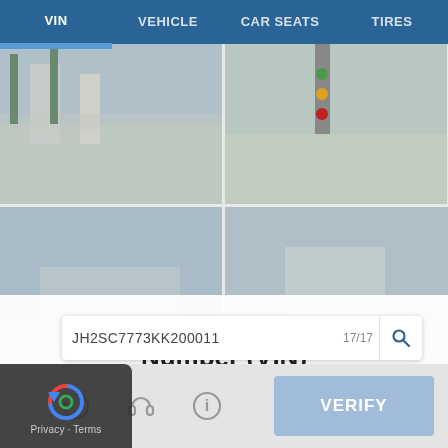VIN | VEHICLE | CAR SEATS | TIRES
[Figure (screenshot): Grid of street scene photos used as background]
Vehicle Identification Number (VIN)
Every vehicle has a unique VIN. Enter a VIN to learn if a specific vehicle needs to be repaired as part of a recall.
JH2SC7773KK200011   17/17
[Figure (screenshot): Bottom action bar with refresh, headphone, info icons and VERIFY button]